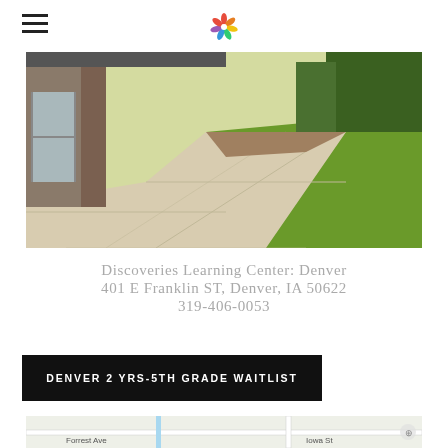Discoveries Learning Center — site header with hamburger menu and logo
[Figure (photo): Outdoor photo of a concrete walkway/pathway with green lawn beside a brick building entrance]
Discoveries Learning Center: Denver
401 E Franklin ST, Denver, IA 50622
319-406-0053
DENVER 2 YRS-5TH GRADE WAITLIST
[Figure (map): Street map showing Forrest Ave and Iowa St near Denver, IA]